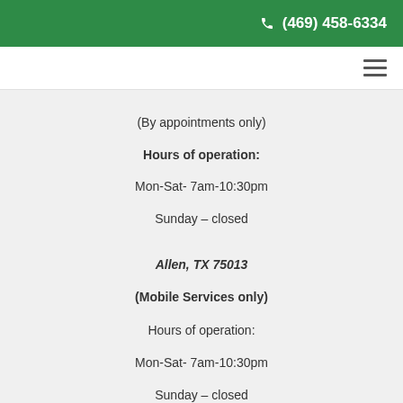(469) 458-6334
(By appointments only)

Hours of operation:
Mon-Sat- 7am-10:30pm
Sunday – closed
Allen, TX 75013
(Mobile Services only)
Hours of operation:
Mon-Sat- 7am-10:30pm
Sunday – closed